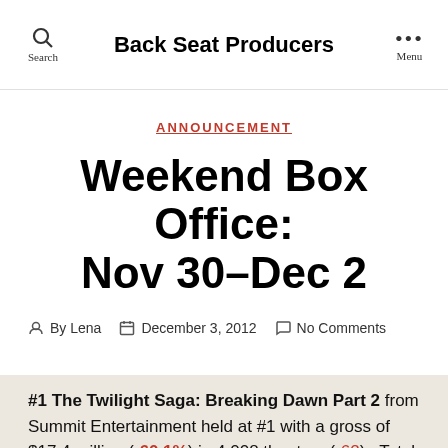Back Seat Producers
ANNOUNCEMENT
Weekend Box Office: Nov 30–Dec 2
By Lena   December 3, 2012   No Comments
#1 The Twilight Saga: Breaking Dawn Part 2 from Summit Entertainment held at #1 with a gross of $17.4 million (-60.1%) in 4,008 theaters (-62).  Total gross to date is $254.6 million.  Budget was $120 million